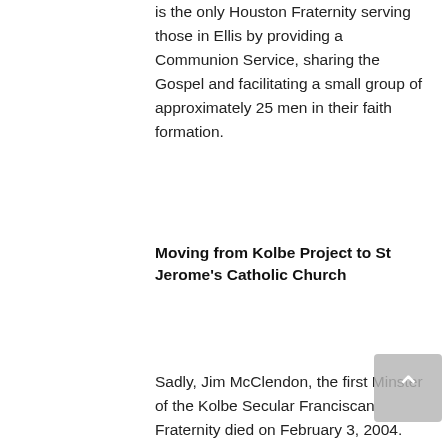is the only Houston Fraternity serving those in Ellis by providing a Communion Service, sharing the Gospel and facilitating a small group of approximately 25 men in their faith formation.
Moving from Kolbe Project to St Jerome's Catholic Church
Sadly, Jim McClendon, the first Minster of the Kolbe Secular Franciscan Fraternity died on February 3, 2004. Shortly after that date the Kolbe Fraternity moved from the Kolbe Project location on Heights Blvd to St Jerome's Catholic Church on Kempwood Dr. The reason for the move was that the Kolbe Project was closing permanently due to financial reasons. As strange as it may seem, part of the reason for the financial problems of the Kolbe Project was the success of the new antiviral AIDS medication. The medicine was so good that most of the